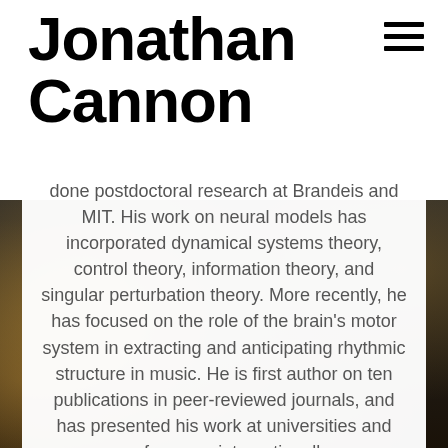Jonathan Cannon
done postdoctoral research at Brandeis and MIT. His work on neural models has incorporated dynamical systems theory, control theory, information theory, and singular perturbation theory. More recently, he has focused on the role of the brain's motor system in extracting and anticipating rhythmic structure in music. He is first author on ten publications in peer-reviewed journals, and has presented his work at universities and conferences internationally.
RESEARCH PROJECTS
CV